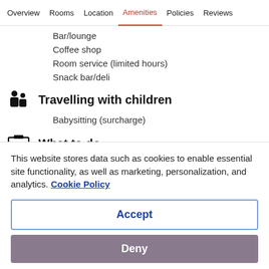Overview  Rooms  Location  Amenities  Policies  Reviews
Bar/lounge
Coffee shop
Room service (limited hours)
Snack bar/deli
Travelling with children
Babysitting (surcharge)
What to do
This website stores data such as cookies to enable essential site functionality, as well as marketing, personalization, and analytics. Cookie Policy
Accept
Deny